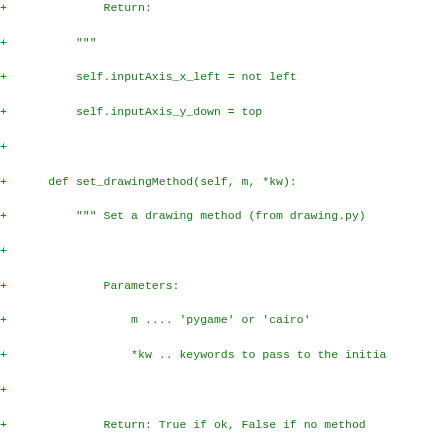Code diff showing Python class methods: set_drawingMethod and set_screenSize with docstrings and implementations